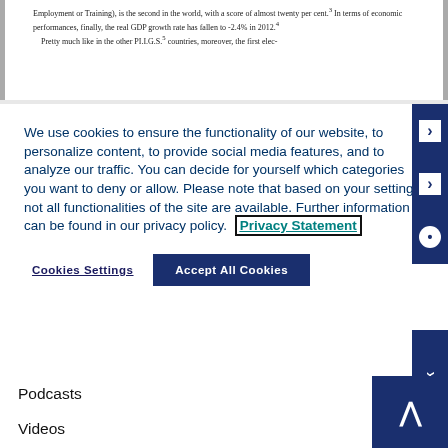Employment or Training), is the second in the world, with a score of almost twenty per cent.3 In terms of economic performances, finally, the real GDP growth rate has fallen to -2.4% in 2012.4
    Pretty much like in the other PI.I.G.S.5 countries, moreover, the first elec-
We use cookies to ensure the functionality of our website, to personalize content, to provide social media features, and to analyze our traffic. You can decide for yourself which categories you want to deny or allow. Please note that based on your settings not all functionalities of the site are available. Further information can be found in our privacy policy.
Privacy Statement
Cookies Settings
Accept All Cookies
Humanities Matter Blog
Interviews
Podcasts
Videos